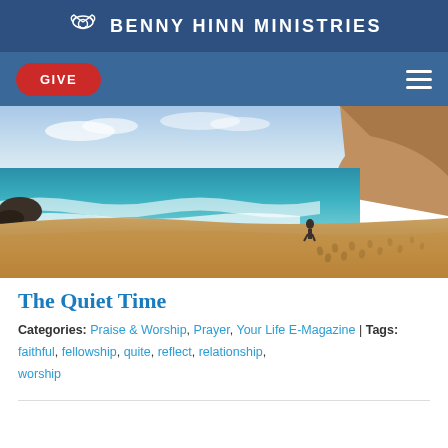BENNY HINN MINISTRIES
GIVE
[Figure (photo): A person walking along a sandy beach leaving footprints, with ocean waves on the left and rocky cliffs in the background under a cloudy sky.]
The Quiet Time
Categories: Praise & Worship, Prayer, Your Life E-Magazine | Tags: faithful, fellowship, quite, reflect, relationship, worship